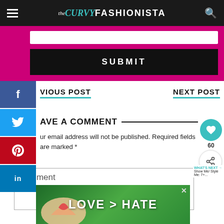the CURVY FASHIONISTA
[Figure (screenshot): Submit button section with pink background and black submit button]
[Figure (infographic): Social media share sidebar with Facebook, Twitter, Pinterest, LinkedIn buttons]
PREVIOUS POST
NEXT POST
LEAVE A COMMENT
Your email address will not be published. Required fields are marked *
Comment
[Figure (screenshot): Advertisement banner reading LOVE > HATE with hands forming heart shape]